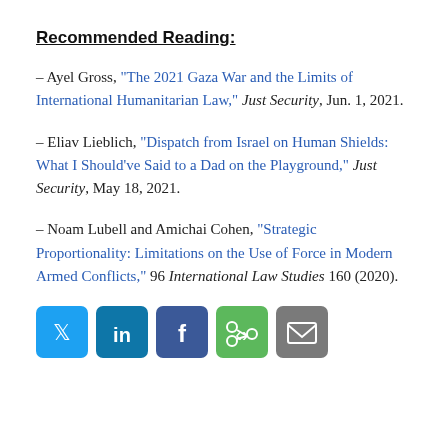Recommended Reading:
– Ayel Gross, “The 2021 Gaza War and the Limits of International Humanitarian Law,” Just Security, Jun. 1, 2021.
– Eliav Lieblich, “Dispatch from Israel on Human Shields: What I Should’ve Said to a Dad on the Playground,” Just Security, May 18, 2021.
– Noam Lubell and Amichai Cohen, “Strategic Proportionality: Limitations on the Use of Force in Modern Armed Conflicts,” 96 International Law Studies 160 (2020).
[Figure (infographic): Social sharing buttons: Twitter (blue), LinkedIn (dark teal), Facebook (dark blue), Share (green), Email (gray)]